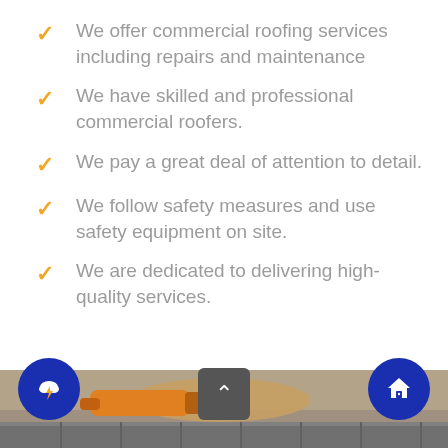We offer commercial roofing services including repairs and maintenance
We have skilled and professional commercial roofers.
We pay a great deal of attention to detail.
We follow safety measures and use safety equipment on site.
We are dedicated to delivering high-quality services.
[Figure (photo): Photo of a person installing roof shingles with a tool, visible at the bottom of the page. Navigation buttons visible: storm cloud icon (left), up arrow (center), house/chat icon (right).]